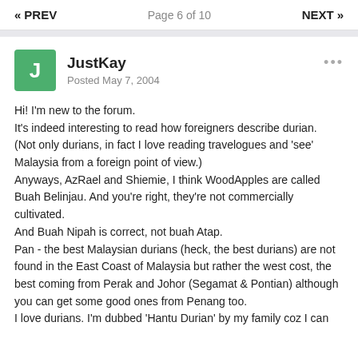« PREV   Page 6 of 10   NEXT »
JustKay
Posted May 7, 2004
Hi! I'm new to the forum.
It's indeed interesting to read how foreigners describe durian.
(Not only durians, in fact I love reading travelogues and 'see' Malaysia from a foreign point of view.)
Anyways, AzRael and Shiemie, I think WoodApples are called Buah Belinjau. And you're right, they're not commercially cultivated.
And Buah Nipah is correct, not buah Atap.
Pan - the best Malaysian durians (heck, the best durians) are not found in the East Coast of Malaysia but rather the west cost, the best coming from Perak and Johor (Segamat & Pontian) although you can get some good ones from Penang too.
I love durians. I'm dubbed 'Hantu Durian' by my family coz I can